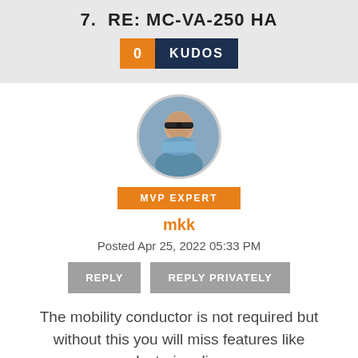7. RE: MC-VA-250 HA
0 KUDOS
[Figure (photo): Circular profile photo of a man wearing sunglasses outdoors with large satellite dish in background]
MVP EXPERT
mkk
Posted Apr 25, 2022 05:33 PM
REPLY   REPLY PRIVATELY
The mobility conductor is not required but without this you will miss features like clustering, live-